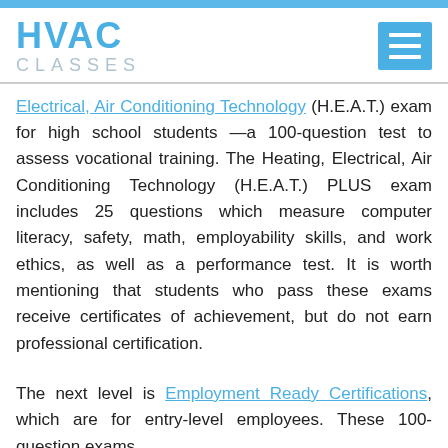HVAC CLASSES
Electrical, Air Conditioning Technology (H.E.A.T.) exam for high school students —a 100-question test to assess vocational training. The Heating, Electrical, Air Conditioning Technology (H.E.A.T.) PLUS exam includes 25 questions which measure computer literacy, safety, math, employability skills, and work ethics, as well as a performance test. It is worth mentioning that students who pass these exams receive certificates of achievement, but do not earn professional certification.
The next level is Employment Ready Certifications, which are for entry-level employees. These 100-question exams